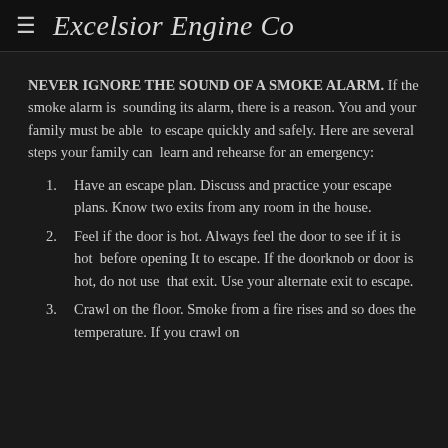Excelsior Engine Co
NEVER IGNORE THE SOUND OF A SMOKE ALARM. If the smoke alarm is sounding its alarm, there is a reason. You and your family must be able to escape quickly and safely. Here are several steps your family can learn and rehearse for an emergency:
1. Have an escape plan. Discuss and practice your escape plans. Know two exits from any room in the house.
2. Feel if the door is hot. Always feel the door to see if it is hot before opening It to escape. If the doorknob or door is hot, do not use that exit. Use your alternate exit to escape.
3. Crawl on the floor. Smoke from a fire rises and so does the temperature. If you crawl on